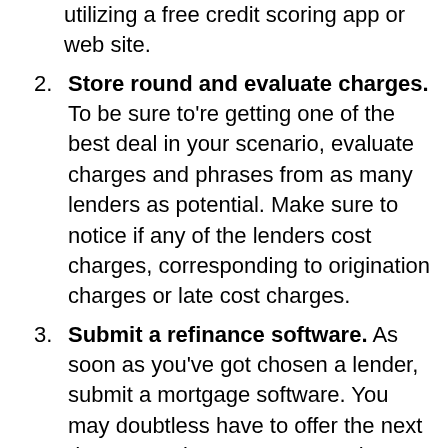utilizing a free credit scoring app or web site.
Store round and evaluate charges. To be sure to're getting one of the best deal in your scenario, evaluate charges and phrases from as many lenders as potential. Make sure to notice if any of the lenders cost charges, corresponding to origination charges or late cost charges.
Submit a refinance software. As soon as you've got chosen a lender, submit a mortgage software. You may doubtless have to offer the next documentation: W-2s, pay stubs, and tax returns.
Handle your new mortgage. Proceed making funds in your unique